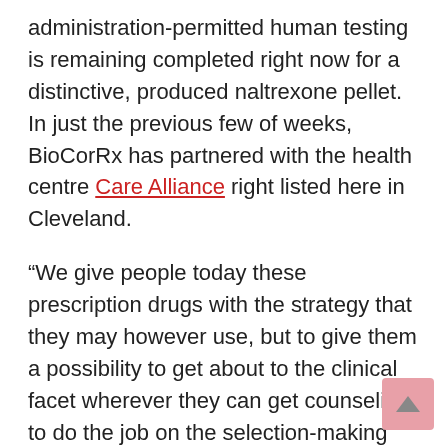administration-permitted human testing is remaining completed right now for a distinctive, produced naltrexone pellet. In just the previous few of weeks, BioCorRx has partnered with the health centre Care Alliance right listed here in Cleveland.
“We give people today these prescription drugs with the strategy that they may however use, but to give them a possibility to get about to the clinical facet wherever they can get counseling to do the job on the selection-making element of the mind,” stated Care Alliance CEO Dr. Claude Jones.
BiorCorRx reported people want to have wrap-close to expert services like treatment, peer support and continued treatment into the long